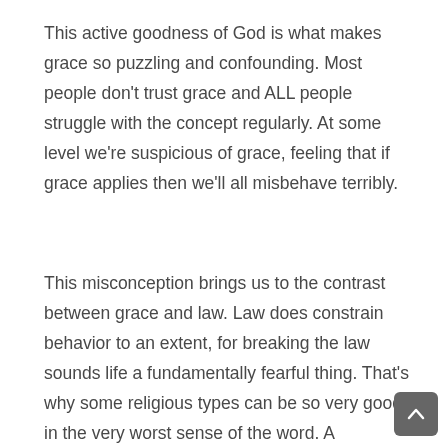This active goodness of God is what makes grace so puzzling and confounding. Most people don't trust grace and ALL people struggle with the concept regularly. At some level we're suspicious of grace, feeling that if grace applies then we'll all misbehave terribly.
This misconception brings us to the contrast between grace and law. Law does constrain behavior to an extent, for breaking the law sounds life a fundamentally fearful thing. That's why some religious types can be so very good in the very worst sense of the word. A